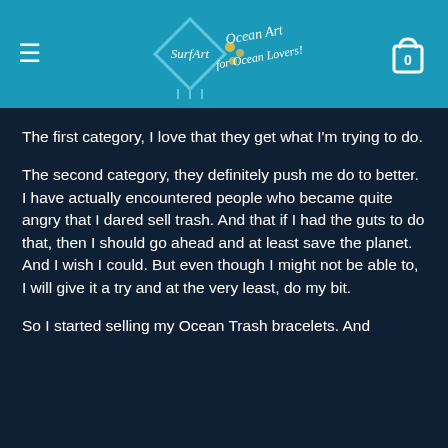SurfArt — Ocean Art for Ocean Lovers!
The first category, I love that they get what I'm trying to do.
The second category, they definitely push me do to better. I have actually encountered people who became quite angry that I dared sell trash. And that if I had the guts to do that, then I should go ahead and at least save the planet.
And I wish I could. But even though I might not be able to, I will give it a try and at the very least, do my bit.
So I started selling my Ocean Trash bracelets. And